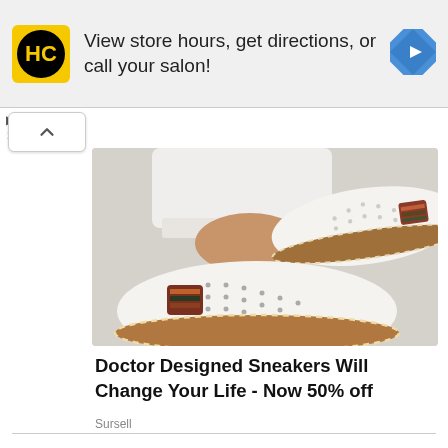[Figure (screenshot): Advertisement banner: HC logo (yellow square with HC text in black circle), text 'View store hours, get directions, or call your salon!', blue diamond navigation icon on right]
[Figure (photo): Close-up photo of a person's feet wearing white slip-on sneakers with perforated upper, brown/tan rope sole, and multicolored elastic band stripe. White rolled-up pants visible at ankle.]
Doctor Designed Sneakers Will Change Your Life - Now 50% off
Sursell